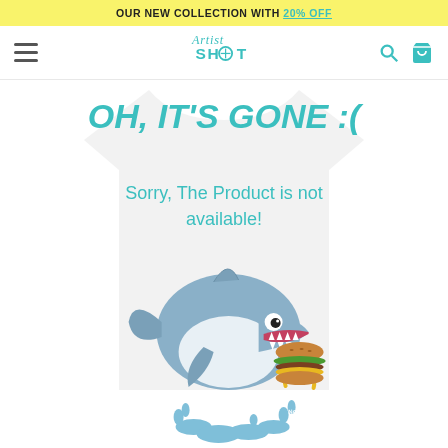OUR NEW COLLECTION WITH 20% OFF
[Figure (logo): Artist Shot logo in teal script/block lettering]
OH, IT'S GONE :(
Sorry, The Product is not available!
[Figure (illustration): Cartoon shark biting into a giant hamburger, with blue water splashes at the bottom, on a white background with a faded t-shirt silhouette behind it]